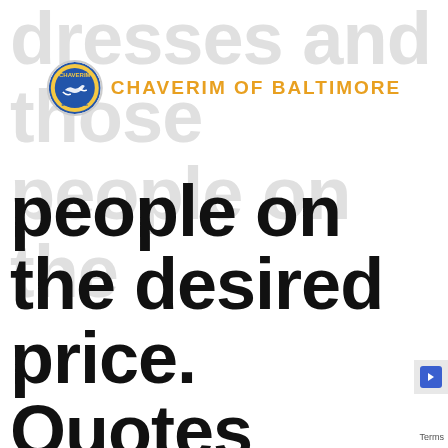[Figure (logo): Chaverim of Baltimore logo: circular badge with text CHAVERIM and handshake image, next to orange bold text CHAVERIM OF BALTIMORE]
dresses and those people on the desired price. Quotes involving on the internet birdes-to-be available for sale really are
people on the desired price. Quotes involving on the internet birdes-to-be available for sale really are